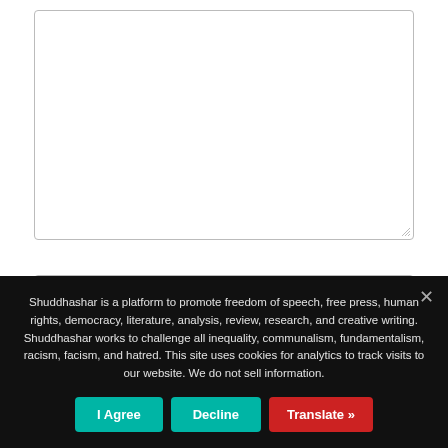[Figure (screenshot): A large empty textarea input box with a rounded border and resize handle at bottom-right corner.]
NAME*
Shuddhashar is a platform to promote freedom of speech, free press, human rights, democracy, literature, analysis, review, research, and creative writing. Shuddhashar works to challenge all inequality, communalism, fundamentalism, racism, facism, and hatred. This site uses cookies for analytics to track visits to our website. We do not sell information.
I Agree
Decline
Translate »